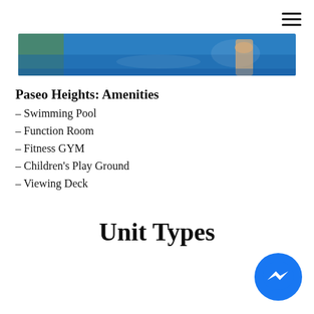[Figure (photo): Swimming pool photo showing blue water with a person swimming, green foliage at the left edge]
Paseo Heights: Amenities
– Swimming Pool
– Function Room
– Fitness GYM
– Children's Play Ground
– Viewing Deck
Unit Types
[Figure (logo): Facebook Messenger circular button icon in blue]